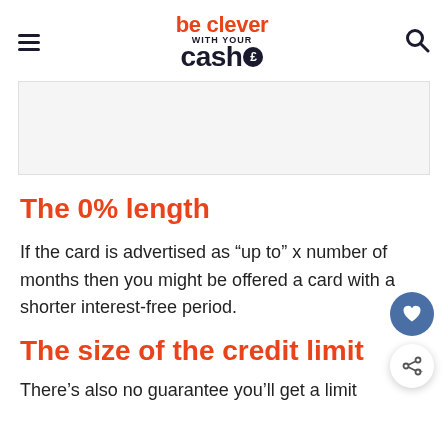be clever with your cash
[Figure (other): Light grey advertisement banner placeholder]
The 0% length
If the card is advertised as “up to” x number of months then you might be offered a card with a shorter interest-free period.
The size of the credit limit
There’s also no guarantee you’ll get a limit